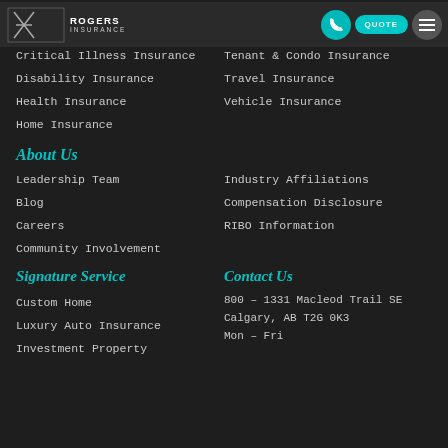Rogers Insurance — navigation header with logo, phone, quote, menu buttons
Collector Cars Insurance
Mortgage Insurance
Critical Illness Insurance
Tenant & Condo Insurance
Disability Insurance
Travel Insurance
Health Insurance
Vehicle Insurance
Home Insurance
About Us
Leadership Team
Industry Affiliations
Blog
Compensation Disclosure
Careers
RIBO Information
Community Involvement
Signature Service
Contact Us
Custom Home
800 – 1331 Macleod Trail SE
Luxury Auto Insurance
Calgary, AB T2G 0K3
Investment Property
Mon – Fri